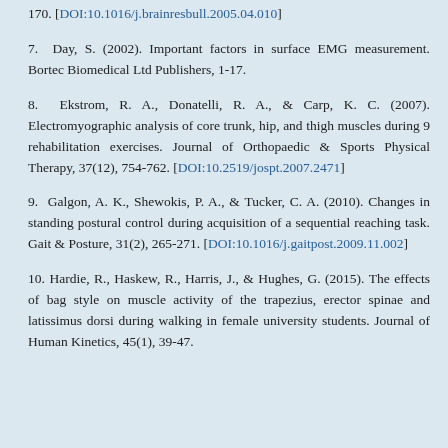170. [DOI:10.1016/j.brainresbull.2005.04.010]
7. Day, S. (2002). Important factors in surface EMG measurement. Bortec Biomedical Ltd Publishers, 1-17.
8. Ekstrom, R. A., Donatelli, R. A., & Carp, K. C. (2007). Electromyographic analysis of core trunk, hip, and thigh muscles during 9 rehabilitation exercises. Journal of Orthopaedic & Sports Physical Therapy, 37(12), 754-762. [DOI:10.2519/jospt.2007.2471]
9. Galgon, A. K., Shewokis, P. A., & Tucker, C. A. (2010). Changes in standing postural control during acquisition of a sequential reaching task. Gait & Posture, 31(2), 265-271. [DOI:10.1016/j.gaitpost.2009.11.002]
10. Hardie, R., Haskew, R., Harris, J., & Hughes, G. (2015). The effects of bag style on muscle activity of the trapezius, erector spinae and latissimus dorsi during walking in female university students. Journal of Human Kinetics, 45(1), 39-47.